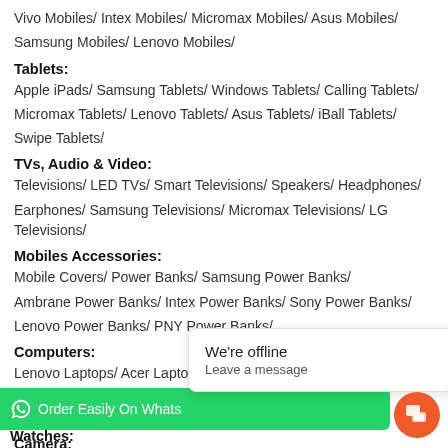Vivo Mobiles/ Intex Mobiles/ Micromax Mobiles/ Asus Mobiles/ Samsung Mobiles/ Lenovo Mobiles/
Tablets:
Apple iPads/ Samsung Tablets/ Windows Tablets/ Calling Tablets/ Micromax Tablets/ Lenovo Tablets/ Asus Tablets/ iBall Tablets/ Swipe Tablets/
TVs, Audio & Video:
Televisions/ LED TVs/ Smart Televisions/ Speakers/ Headphones/ Earphones/ Samsung Televisions/ Micromax Televisions/ LG Televisions/
Mobiles Accessories:
Mobile Covers/ Power Banks/ Samsung Power Banks/ Ambrane Power Banks/ Intex Power Banks/ Sony Power Banks/ Lenovo Power Banks/ PNY Power Banks/
Computers:
Lenovo Laptops/ Acer Laptops/ Apple Macbooks/ Notebook/ Laptops/ External Hard Disks/ Dell Laptops/ HP Laptops/
Camera:
DSLR Cameras/ Canon Cameras/ Nikon Coolpix/ Nikon DSLR Cameras/
Watches:
We're offline
Leave a message